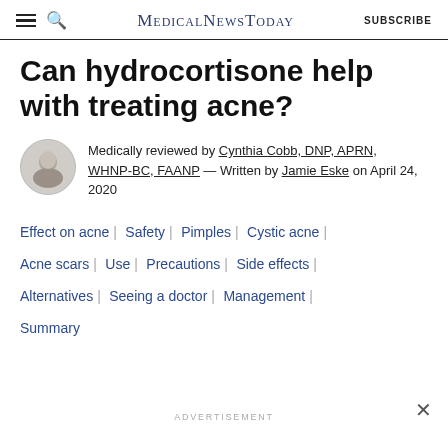MedicalNewsToday | SUBSCRIBE
Can hydrocortisone help with treating acne?
Medically reviewed by Cynthia Cobb, DNP, APRN, WHNP-BC, FAANP — Written by Jamie Eske on April 24, 2020
Effect on acne | Safety | Pimples | Cystic acne | Acne scars | Use | Precautions | Side effects | Alternatives | Seeing a doctor | Management | Summary
ADVERTISEMENT